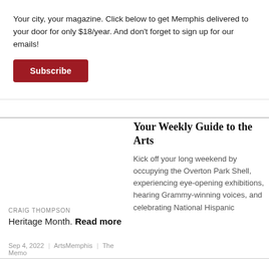Your city, your magazine. Click below to get Memphis delivered to your door for only $18/year. And don't forget to sign up for our emails!
Subscribe
×
Your Weekly Guide to the Arts
Kick off your long weekend by occupying the Overton Park Shell, experiencing eye-opening exhibitions, hearing Grammy-winning voices, and celebrating National Hispanic
CRAIG THOMPSON
Heritage Month. Read more
Sep 4, 2022 | ArtsMemphis | The Memo